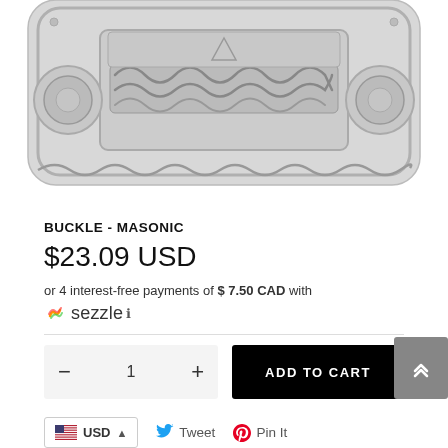[Figure (photo): Silver/pewter masonic belt buckle with Celtic knotwork and circular motifs, photographed against white background — cropped top portion visible]
BUCKLE - MASONIC
$23.09 USD
or 4 interest-free payments of $ 7.50 CAD with Sezzle ℹ
ADD TO CART — quantity selector with − 1 + buttons
USD — Tweet — Pin It